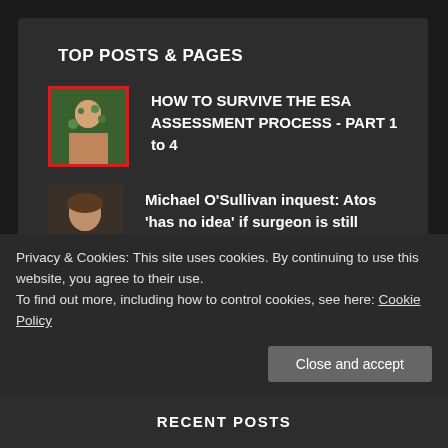TOP POSTS & PAGES
HOW TO SURVIVE THE ESA ASSESSMENT PROCESS - PART 1 to 4
Michael O'Sullivan inquest: Atos 'has no idea' if surgeon is still
Privacy & Cookies: This site uses cookies. By continuing to use this website, you agree to their use.
To find out more, including how to control cookies, see here: Cookie Policy
RECENT POSTS